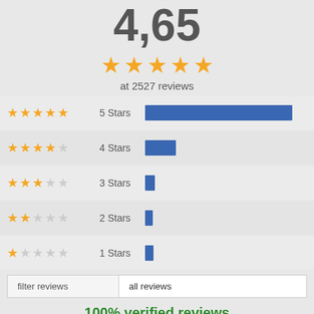4.65
[Figure (other): 5 gold stars rating display]
at 2527 reviews
[Figure (bar-chart): Star rating distribution]
| filter reviews | all reviews |
| --- | --- |
100% verified reviews
Read here about our review conditions and process!